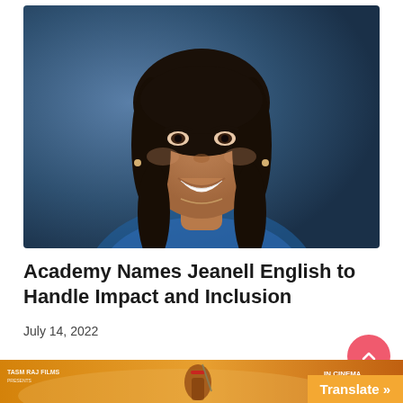[Figure (photo): Headshot of Jeanell English, a woman with long dark hair, smiling, against a blurred blue background]
Academy Names Jeanell English to Handle Impact and Inclusion
July 14, 2022
[Figure (photo): Bottom banner showing a movie advertisement for a film by Tasm Raj Films, featuring a warrior figure, with text 'IN CINEMA 22N']
Translate »